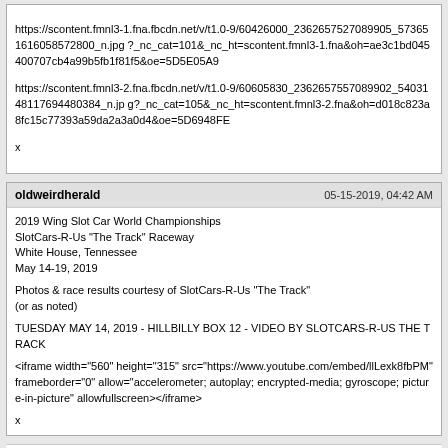https://scontent.fmnl3-1.fna.fbcdn.net/v/t1.0-9/60426000_2362657527089905_573651616058572800_n.jpg ?_nc_cat=101&_nc_ht=scontent.fmnl3-1.fna&oh=ae3c1bd045400707cb4a99b5fb1f81f5&oe=5D5E05A9

https://scontent.fmnl3-2.fna.fbcdn.net/v/t1.0-9/60605830_2362657557089902_5403148117694480384_n.jp g?_nc_cat=105&_nc_ht=scontent.fmnl3-2.fna&oh=d018c823a8fc15c77393a59da2a3a0d4&oe=5D6948FE

x
oldweirdherald
05-15-2019, 04:42 AM
2019 Wing Slot Car World Championships
SlotCars-R-Us "The Track" Raceway
White House, Tennessee
May 14-19, 2019

Photos & race results courtesy of SlotCars-R-Us "The Track"
(or as noted)

TUESDAY MAY 14, 2019 - HILLBILLY BOX 12 - VIDEO BY SLOTCARS-R-US THE TRACK

<iframe width="560" height="315" src="https://www.youtube.com/embed/llLexk8fbPM" frameborder="0" allow="accelerometer; autoplay; encrypted-media; gyroscope; picture-in-picture" allowfullscreen></iframe>

x
Powered by vBulletin® Version 4.2.5 Copyright © 2022 vBulletin Solutions, Inc. All rights reserved.